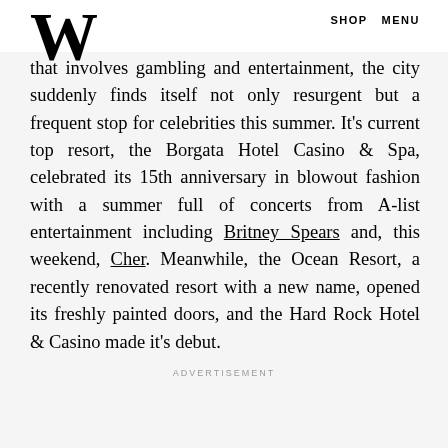W  SHOP  MENU
the preferred vacation destination for East Coasters who can't decide between a beach getaway or one that involves gambling and entertainment, the city suddenly finds itself not only resurgent but a frequent stop for celebrities this summer. It's current top resort, the Borgata Hotel Casino & Spa, celebrated its 15th anniversary in blowout fashion with a summer full of concerts from A-list entertainment including Britney Spears and, this weekend, Cher. Meanwhile, the Ocean Resort, a recently renovated resort with a new name, opened its freshly painted doors, and the Hard Rock Hotel & Casino made it's debut.
ADVERTISEMENT